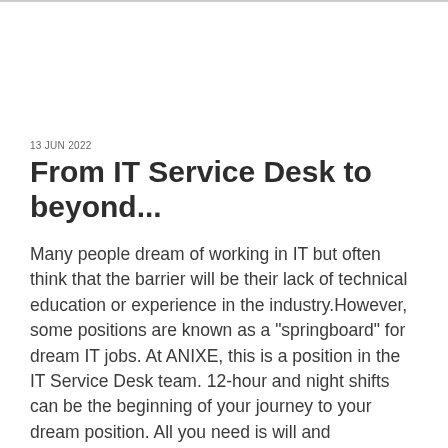13 JUN 2022
From IT Service Desk to beyond...
Many people dream of working in IT but often think that the barrier will be their lack of technical education or experience in the industry.However, some positions are known as a "springboard" for dream IT jobs. At ANIXE, this is a position in the IT Service Desk team. 12-hour and night shifts can be the beginning of your journey to your dream position. All you need is will and determination. Here are three